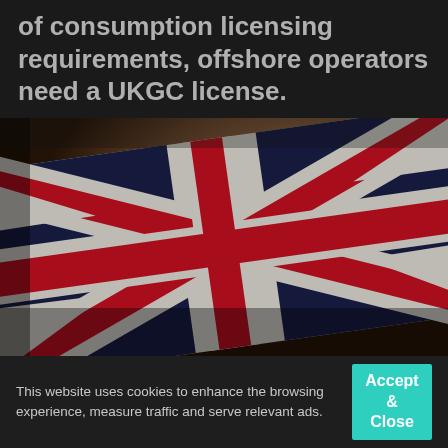of consumption licensing requirements, offshore operators need a UKGC license.
[Figure (photo): Close-up photo of a Union Jack (British flag) fabric, with red, white, and navy blue colors. The flag is crumpled/folded, shot at an angle with shallow depth of field. Background is blurred with warm tones.]
This website uses cookies to enhance the browsing experience, measure traffic and serve relevant ads.